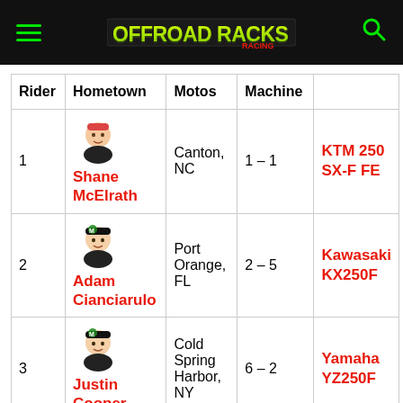Offroad Tracks - navigation header with hamburger menu, logo, and search icon
| Rider | Hometown | Motos | Machine |  |
| --- | --- | --- | --- | --- |
| 1 / Shane McElrath | Canton, NC | 1 – 1 | KTM 250 SX-F FE |  |
| 2 / Adam Cianciarulo | Port Orange, FL | 2 – 5 | Kawasaki KX250F |  |
| 3 / Justin Cooper | Cold Spring Harbor, NY | 6 – 2 | Yamaha YZ250F |  |